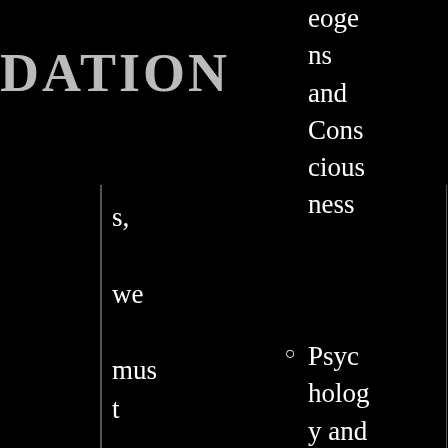DATION
s, we must ask ourselves: if psi is that anomal
eoge ns and Consciousness Psychology and Psychotherapy
Parapsychology and Psychical Research arch